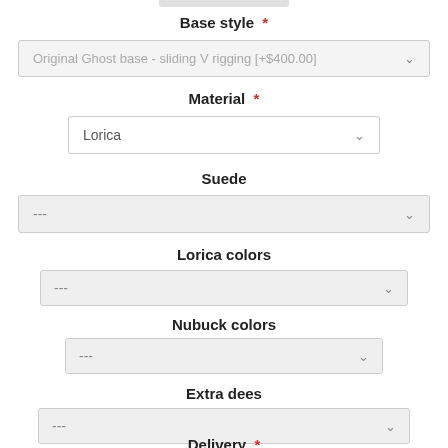Base style *
Original Ghost base - sliding V rigging [+$400.00]
Material *
Lorica
Suede
---
Lorica colors
---
Nubuck colors
---
Extra dees
---
Delivery *